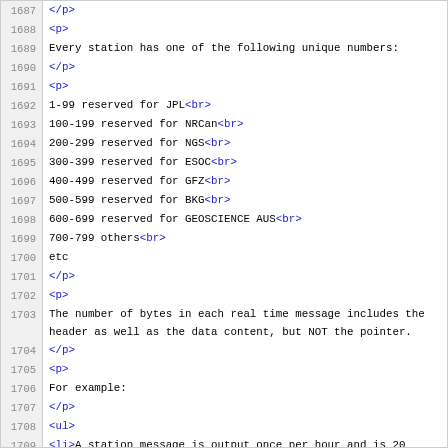1687  </p>
1688  <p>
1689  Every station has one of the following unique numbers:
1690  </p>
1691  <p>
1692  1-99 reserved for JPL<br>
1693  100-199 reserved for NRCan<br>
1694  200-299 reserved for NGS<br>
1695  300-399 reserved for ESOC<br>
1696  400-499 reserved for GFZ<br>
1697  500-599 reserved for BKG<br>
1698  600-699 reserved for GEOSCIENCE AUS<br>
1699  700-799 others<br>
1700  etc
1701  </p>
1702  <p>
1703  The number of bytes in each real time message includes the header as well as the data content, but NOT the pointer.
1704  </p>
1705  <p>
1706  For example:
1707  </p>
1708  <ul>
1709  <li>A station message is output once per hour and is 20 bytes.</li>
1710  <li>An observation message is output once per second. The header is 12 bytes long and the SOC data is 21 bytes per PRN. So a typical RTIGSO_T message will be 390 bytes if 8 sats are being tracked.</li>
1711  <li>An ephemeris message is output when the ephemeris is decoded by the GPS receiver. The time in the ephemeris